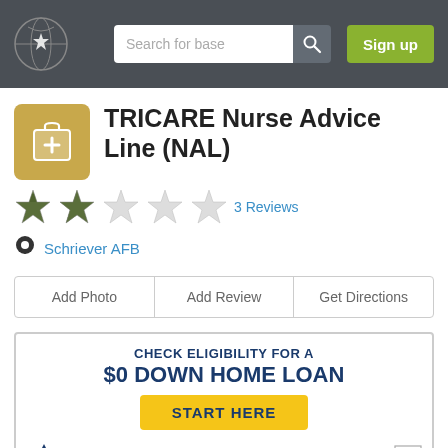Search for base | Sign up
TRICARE Nurse Advice Line (NAL)
3 Reviews
Schriever AFB
Add Photo | Add Review | Get Directions
[Figure (infographic): Veterans United Home Loans advertisement: CHECK ELIGIBILITY FOR A $0 DOWN HOME LOAN. START HERE button. NMLS 1907. Not a government agency. Equal Housing Lender logo.]
Nurse Advice Line (Ext. 1)
800-874-2273
Hours Info
Nurse Advice Line available 24/7